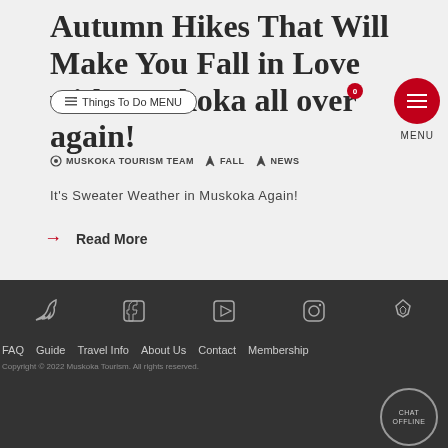Autumn Hikes That Will Make You Fall in Love with Muskoka all over again!
MUSKOKA TOURISM TEAM   FALL   NEWS
It's Sweater Weather in Muskoka Again!
Read More
FAQ   Guide   Travel Info   About Us   Contact   Membership
Copyright © 2022 Muskoka Tourism. All rights reserved.